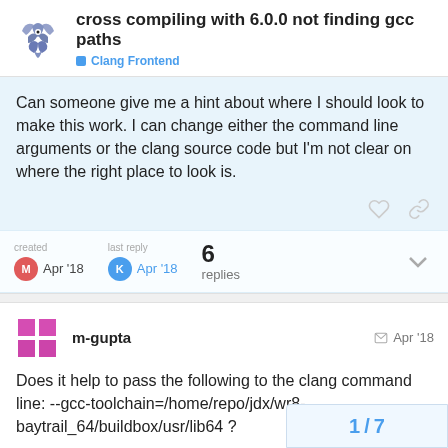cross compiling with 6.0.0 not finding gcc paths
Clang Frontend
Can someone give me a hint about where I should look to make this work. I can change either the command line arguments or the clang source code but I'm not clear on where the right place to look is.
created Apr '18   last reply Apr '18   6 replies
m-gupta   Apr '18
Does it help to pass the following to the clang command line: --gcc-toolchain=/home/repo/jdx/wr8-baytrail_64/buildbox/usr/lib64 ?
1 / 7